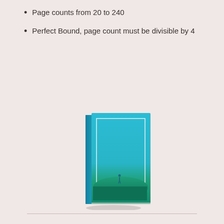Page counts from 20 to 240
Perfect Bound, page count must be divisible by 4
[Figure (illustration): A book with a teal/cyan cover showing a lone person standing on a green hill against a blue sky, with a white rectangular border inset on the cover. The book is shown at a slight angle with a subtle shadow.]